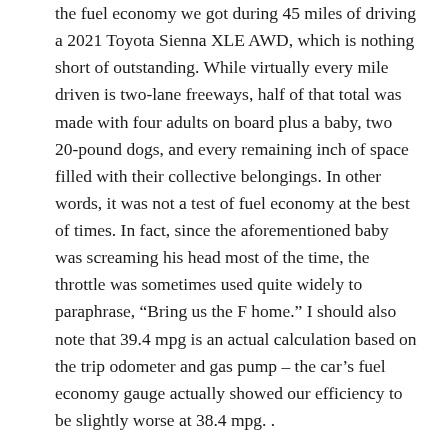the fuel economy we got during 45 miles of driving a 2021 Toyota Sienna XLE AWD, which is nothing short of outstanding. While virtually every mile driven is two-lane freeways, half of that total was made with four adults on board plus a baby, two 20-pound dogs, and every remaining inch of space filled with their collective belongings. In other words, it was not a test of fuel economy at the best of times. In fact, since the aforementioned baby was screaming his head most of the time, the throttle was sometimes used quite widely to paraphrase, “Bring us the F home.” I should also note that 39.4 mpg is an actual calculation based on the trip odometer and gas pump – the car’s fuel economy gauge actually showed our efficiency to be slightly worse at 38.4 mpg. . According to EPA, the 2021 Sienna is estimated to hit a 36 mpg highway regardless of FWD or all-wheel drive, with the FWD version doing a bit better combined at 36 mpg versus 35. The same drivers also managed only 29.6 mpg during the race. Sienna vs Pacifica Hybrid comparison test despite much less weight on board (the route was totally different and with fewer